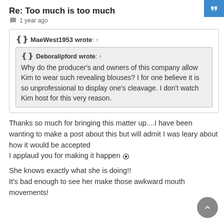[Figure (other): Blue quotation mark icon button in top-right corner]
Re: Too much is too much
1 year ago
MaeWest1953 wrote: ↑

Deboralipford wrote: ↑
Why do the producer's and owners of this company allow Kim to wear such revealing blouses? I for one believe it is so unprofessional to display one's cleavage. I don't watch Kim host for this very reason.
Thanks so much for bringing this matter up....I have been wanting to make a post about this but will admit I was leary about how it would be accepted
I applaud you for making it happen 🏆
She knows exactly what she is doing!!
It's bad enough to see her make those awkward mouth movements!